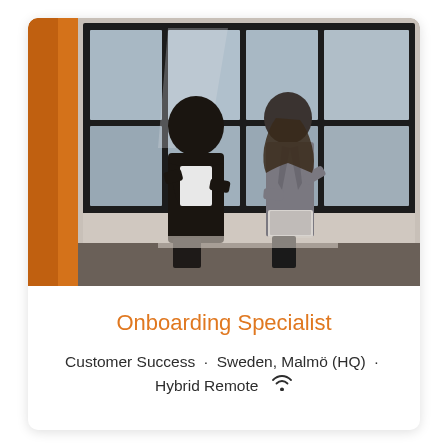[Figure (photo): Two women sitting by a large window in an office building, having a conversation. One woman with dark curly hair wearing a dark blazer, the other with long brown hair wearing a grey blazer holding a laptop. An orange wall is visible on the left side.]
Onboarding Specialist
Customer Success · Sweden, Malmö (HQ) · Hybrid Remote